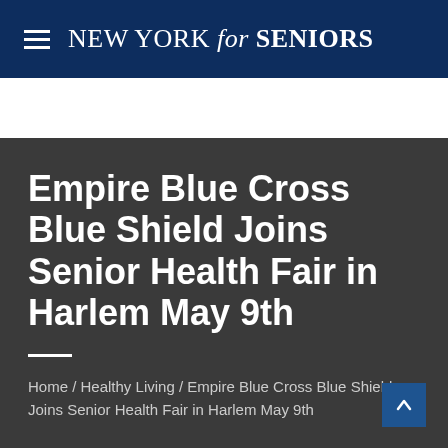NEW YORK for SENIORS
Empire Blue Cross Blue Shield Joins Senior Health Fair in Harlem May 9th
Home / Healthy Living / Empire Blue Cross Blue Shield Joins Senior Health Fair in Harlem May 9th